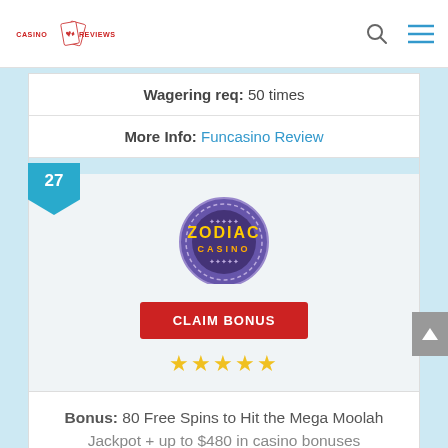Casino Reviews
Wagering req: 50 times
More Info: Funcasino Review
[Figure (screenshot): Zodiac Casino logo with purple circular badge, CLAIM BONUS red button, and 5 gold stars rating]
Bonus: 80 Free Spins to Hit the Mega Moolah Jackpot + up to $480 in casino bonuses